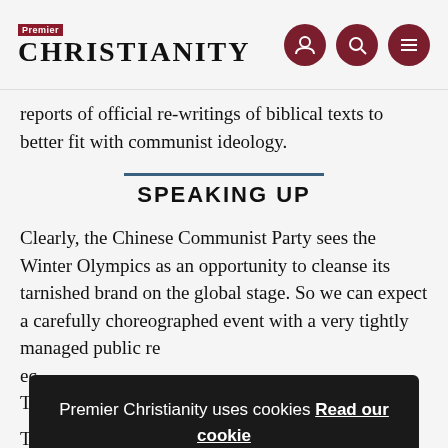Premier Christianity
reports of official re-writings of biblical texts to better fit with communist ideology.
SPEAKING UP
Clearly, the Chinese Communist Party sees the Winter Olympics as an opportunity to cleanse its tarnished brand on the global stage. So we can expect a carefully choreographed event with a very tightly managed public re[lations environment, where every message is carefully ec...] Th[...]
Th[...] sp[eak up] governments need to capitalise on this momentum and sharpen the focus on China's appalling human rights record. Christians everywhere should take the
Premier Christianity uses cookies Read our cookie policy.
OK